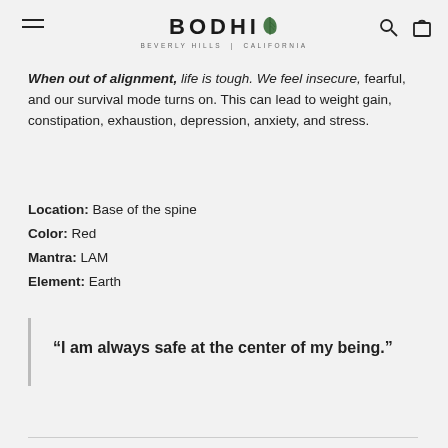BODHI BEVERLY HILLS | CALIFORNIA
When out of alignment, life is tough. We feel insecure, fearful, and our survival mode turns on. This can lead to weight gain, constipation, exhaustion, depression, anxiety, and stress.
Location: Base of the spine
Color: Red
Mantra: LAM
Element: Earth
“I am always safe at the center of my being.”